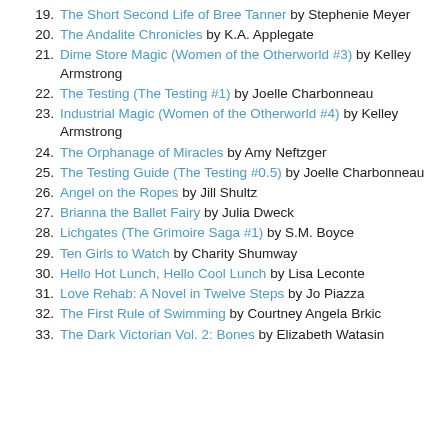19. The Short Second Life of Bree Tanner by Stephenie Meyer
20. The Andalite Chronicles by K.A. Applegate
21. Dime Store Magic (Women of the Otherworld #3) by Kelley Armstrong
22. The Testing (The Testing #1) by Joelle Charbonneau
23. Industrial Magic (Women of the Otherworld #4) by Kelley Armstrong
24. The Orphanage of Miracles by Amy Neftzger
25. The Testing Guide (The Testing #0.5) by Joelle Charbonneau
26. Angel on the Ropes by Jill Shultz
27. Brianna the Ballet Fairy by Julia Dweck
28. Lichgates (The Grimoire Saga #1) by S.M. Boyce
29. Ten Girls to Watch by Charity Shumway
30. Hello Hot Lunch, Hello Cool Lunch by Lisa Leconte
31. Love Rehab: A Novel in Twelve Steps by Jo Piazza
32. The First Rule of Swimming by Courtney Angela Brkic
33. The Dark Victorian Vol. 2: Bones by Elizabeth Watasin